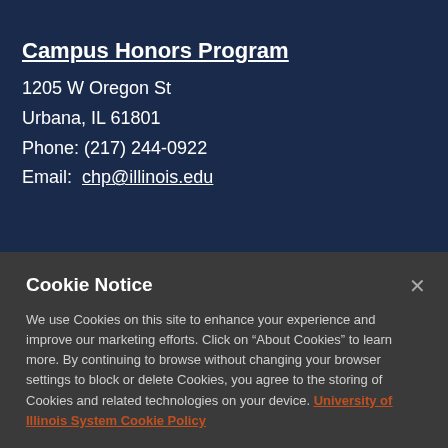Campus Honors Program
1205 W Oregon St
Urbana, IL 61801
Phone: (217) 244-0922
Email: chp@illinois.edu
Cookie Notice
We use Cookies on this site to enhance your experience and improve our marketing efforts. Click on “About Cookies” to learn more. By continuing to browse without changing your browser settings to block or delete Cookies, you agree to the storing of Cookies and related technologies on your device. University of Illinois System Cookie Policy